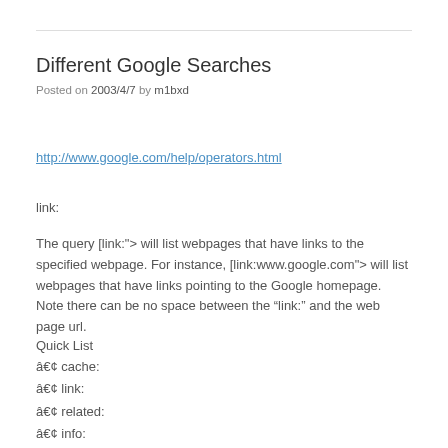Different Google Searches
Posted on 2003/4/7 by m1bxd
http://www.google.com/help/operators.html
link:
The query [link:"> will list webpages that have links to the specified webpage. For instance, [link:www.google.com"> will list webpages that have links pointing to the Google homepage. Note there can be no space between the “link:” and the web page url.
Quick List
• cache:
• link:
• related:
• info:
• stocks:
• site: